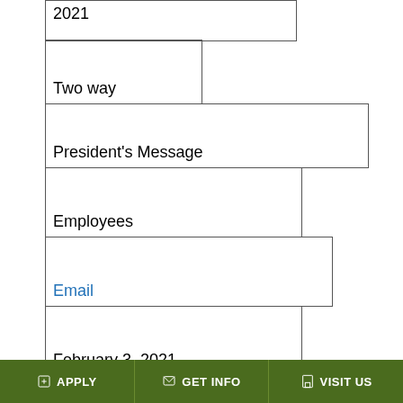2021
Two way
President's Message
Employees
Email
February 3, 2021
One way
SA Food Bank Pop-Up Market @NLC
APPLY | GET INFO | VISIT US